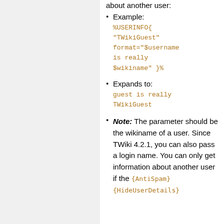about another user:
Example:
%USERINFO{ "TWikiGuest" format="$username is really $wikiname" }%
Expands to:
guest is really TWikiGuest
Note: The parameter should be the wikiname of a user. Since TWiki 4.2.1, you can also pass a login name. You can only get information about another user if the {AntiSpam} {HideUserDetails}